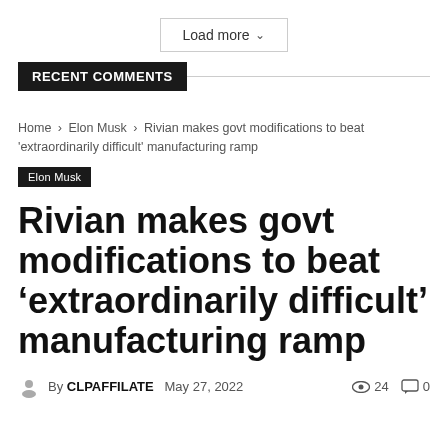[Figure (other): Load more button with dropdown arrow]
RECENT COMMENTS
Home › Elon Musk › Rivian makes govt modifications to beat 'extraordinarily difficult' manufacturing ramp
Elon Musk
Rivian makes govt modifications to beat ‘extraordinarily difficult’ manufacturing ramp
By CLPAFFILATE  May 27, 2022   24   0